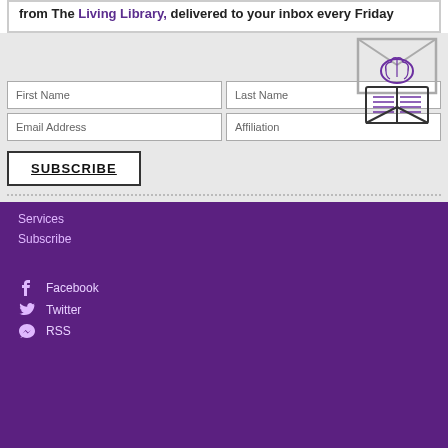from The Living Library, delivered to your inbox every Friday
[Figure (illustration): Icon of a brain over an open book inside an envelope outline, in purple and gray]
First Name
Last Name
Email Address
Affiliation
SUBSCRIBE
Services
Subscribe
Facebook
Twitter
RSS